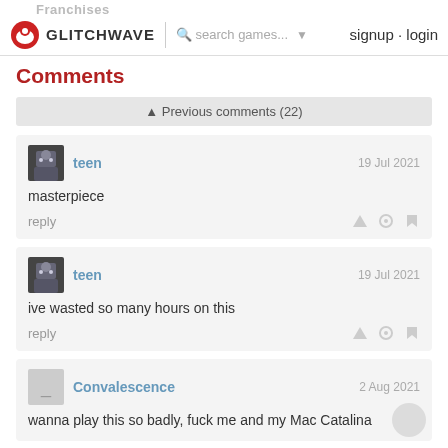Franchises
GLITCHWAVE   search games...   signup · login
Comments
▲ Previous comments (22)
teen   19 Jul 2021
masterpiece
reply
teen   19 Jul 2021
ive wasted so many hours on this
reply
Convalescence   2 Aug 2021
wanna play this so badly, fuck me and my Mac Catalina